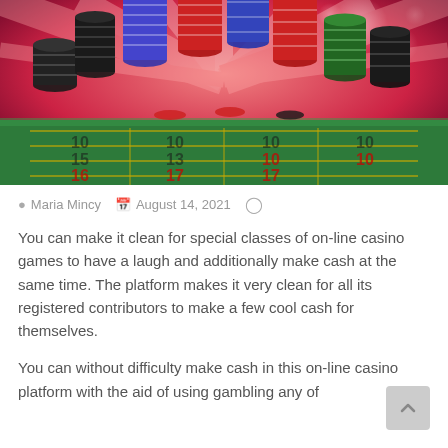[Figure (photo): Casino chips stacked on a green felt roulette/craps table with a red radiant background light effect. Multiple stacks of poker chips in black, red, blue, green and white colors.]
Maria Mincy   August 14, 2021
You can make it clean for special classes of on-line casino games to have a laugh and additionally make cash at the same time. The platform makes it very clean for all its registered contributors to make a few cool cash for themselves.
You can without difficulty make cash in this on-line casino platform with the aid of using gambling any of